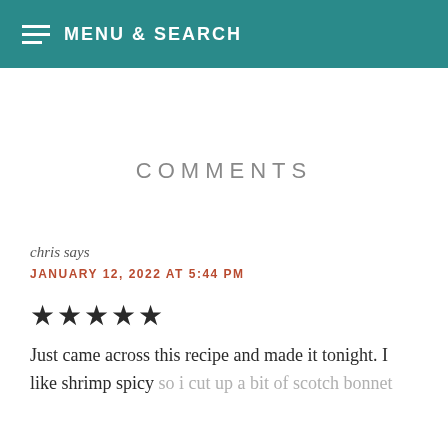MENU & SEARCH
COMMENTS
chris says
JANUARY 12, 2022 AT 5:44 PM
★★★★★
Just came across this recipe and made it tonight. I like shrimp spicy so i cut up a bit of scotch bonnet